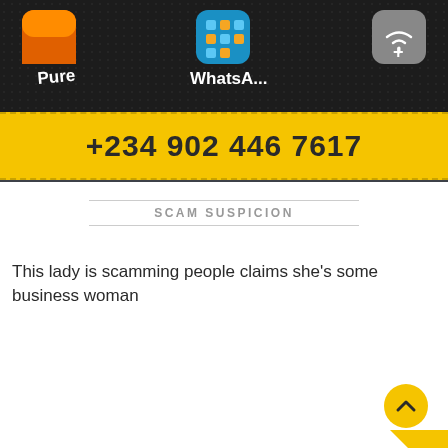[Figure (screenshot): Phone screen showing app icons including Pure and WhatsApp on dark background]
+234 902 446 7617
SCAM SUSPICION
This lady is scamming people claims she's some business woman